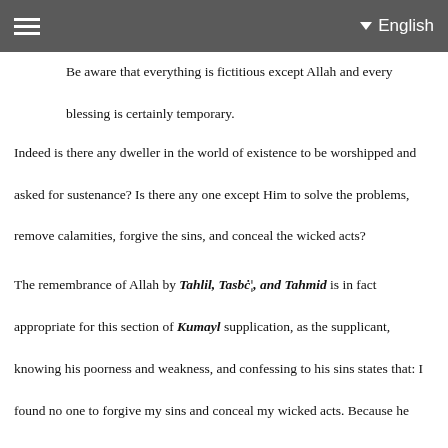English
Be aware that everything is fictitious except Allah and every blessing is certainly temporary.
Indeed is there any dweller in the world of existence to be worshipped and asked for sustenance? Is there any one except Him to solve the problems, remove calamities, forgive the sins, and conceal the wicked acts?
The remembrance of Allah by Tahlil, Tasbċ¦, and Tahmid is in fact appropriate for this section of Kumayl supplication, as the supplicant, knowing his poorness and weakness, and confessing to his sins states that: I found no one to forgive my sins and conceal my wicked acts. Because he knows well that this is only possible by Allah's Power.